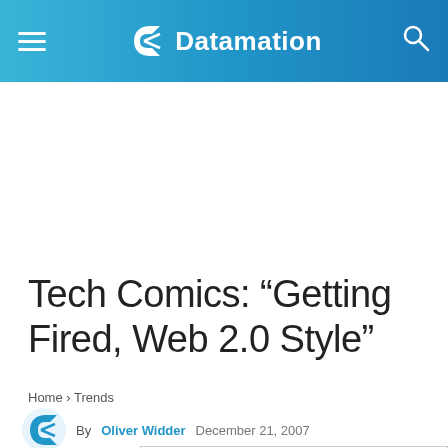Datamation
Tech Comics: “Getting Fired, Web 2.0 Style”
Home › Trends
By Oliver Widder   December 21, 2007